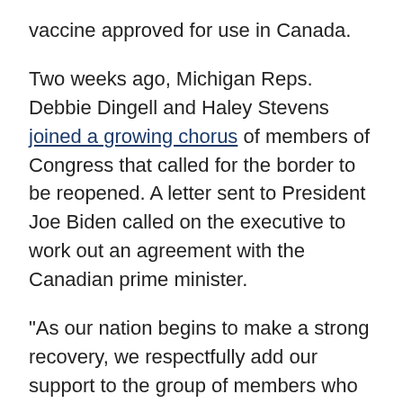vaccine approved for use in Canada.
Two weeks ago, Michigan Reps. Debbie Dingell and Haley Stevens joined a growing chorus of members of Congress that called for the border to be reopened. A letter sent to President Joe Biden called on the executive to work out an agreement with the Canadian prime minister.
"As our nation begins to make a strong recovery, we respectfully add our support to the group of members who have recently written you and urge your administration to adopt an evidence-based strategy to safely reopen international travel along the northern border."
The rest of the world will be eligible to enter the country Sept. 7.